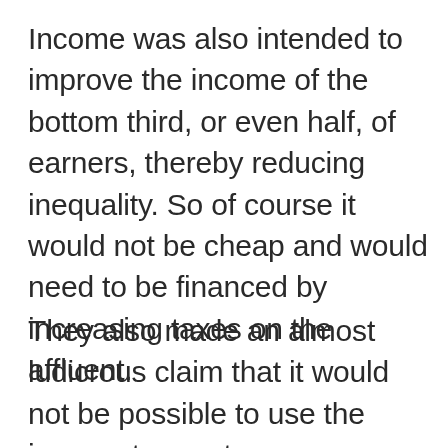Income was also intended to improve the income of the bottom third, or even half, of earners, thereby reducing inequality. So of course it would not be cheap and would need to be financed by increasing taxes on the affluent.
They also made an almost ludicrous claim that it would not be possible to use the income tax system as an